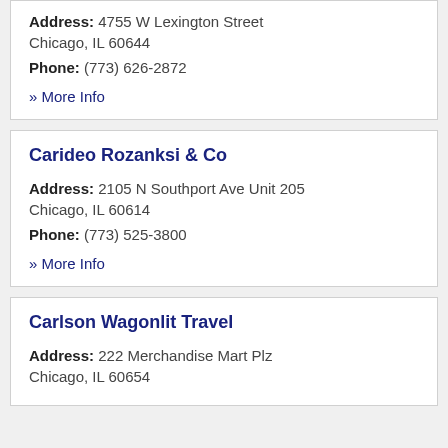Address: 4755 W Lexington Street Chicago, IL 60644
Phone: (773) 626-2872
» More Info
Carideo Rozanksi & Co
Address: 2105 N Southport Ave Unit 205 Chicago, IL 60614
Phone: (773) 525-3800
» More Info
Carlson Wagonlit Travel
Address: 222 Merchandise Mart Plz Chicago, IL 60654